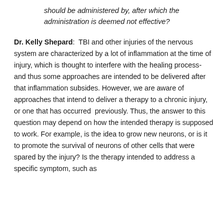should be administered by, after which the administration is deemed not effective?
Dr. Kelly Shepard: TBI and other injuries of the nervous system are characterized by a lot of inflammation at the time of injury, which is thought to interfere with the healing process- and thus some approaches are intended to be delivered after that inflammation subsides. However, we are aware of approaches that intend to deliver a therapy to a chronic injury, or one that has occurred previously. Thus, the answer to this question may depend on how the intended therapy is supposed to work. For example, is the idea to grow new neurons, or is it to promote the survival of neurons of other cells that were spared by the injury? Is the therapy intended to address a specific symptom, such as